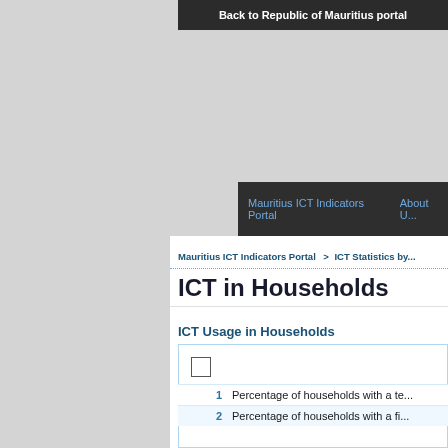Back to Republic of Mauritius portal
Mauritius ICT Indicators Portal  About U...
Mauritius ICT Indicators Portal > ICT Statistics by...
ICT in Households
ICT Usage in Households
| # | Description |
| --- | --- |
| 1 | Percentage of households with a te... |
| 2 | Percentage of households with a fi... |